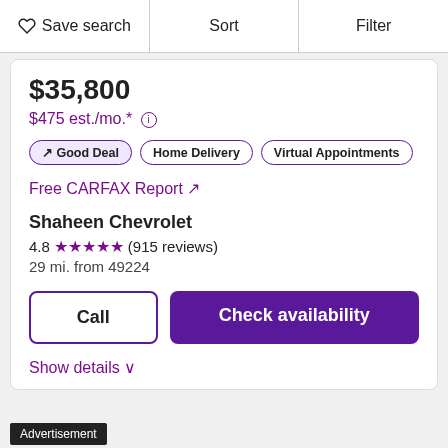Save search | Sort | Filter
$35,800
$475 est./mo.* (i)
↗ Good Deal | Home Delivery | Virtual Appointments
Free CARFAX Report ↗
Shaheen Chevrolet
4.8 ★★★★★ (915 reviews)
29 mi. from 49224
Call | Check availability
Show details ∨
Advertisement